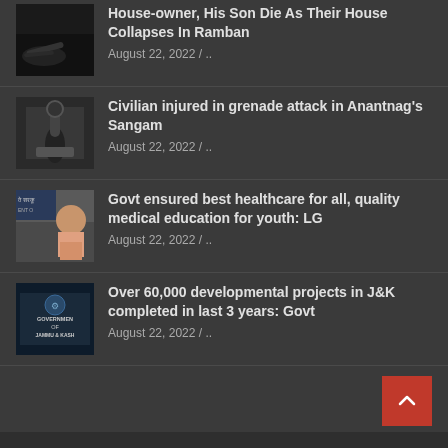[Figure (photo): Dark image showing a hand on ground, related to house collapse incident]
House-owner, His Son Die As Their House Collapses In Ramban
August 22, 2022 / ..
[Figure (photo): Image showing a grenade or explosive device on rocky ground]
Civilian injured in grenade attack in Anantnag's Sangam
August 22, 2022 / ..
[Figure (photo): Photo of a man (LG) in front of a sign with Hindi text]
Govt ensured best healthcare for all, quality medical education for youth: LG
August 22, 2022 / ..
[Figure (photo): Dark image showing Government of Jammu & Kashmir signboard]
Over 60,000 developmental projects in J&K completed in last 3 years: Govt
August 22, 2022 / ..
Copyright © 2022   |   Made By: Computer Consultancy